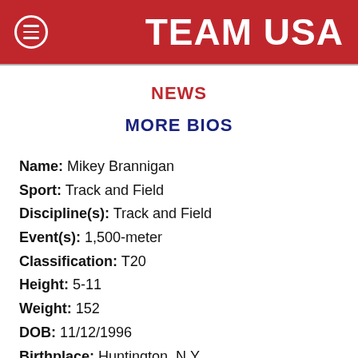TEAM USA
NEWS
MORE BIOS
Name: Mikey Brannigan
Sport: Track and Field
Discipline(s): Track and Field
Event(s): 1,500-meter
Classification: T20
Height: 5-11
Weight: 152
DOB: 11/12/1996
Birthplace: Huntington, N.Y.